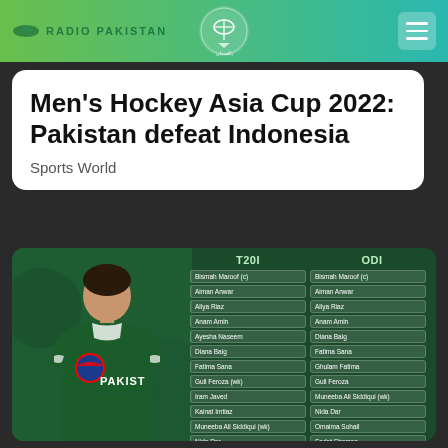Radio Pakistan
Men's Hockey Asia Cup 2022: Pakistan defeat Indonesia
Sports World
[Figure (photo): Cricket squad lists image showing Pakistan women's cricket player in green uniform with T20I and ODI squad lists. T20I squad: Bismah Maroof (c), Aiman Anwar, Aliya Riaz, Anam Amin, Ayesha Naseem, Diana Baig, Fatima Sana, Gull Feroza (wk), Iram Javed, Kainat Imtiaz, Muneeba Ali Siddiqui (wk), Nida Dar, Omaima Sohail, Sadia Iqbal, Tuba Hasan. ODI squad: Bismah Maroof (c), Aiman Anwar, Aliya Riaz, Anam Amin, Diana Baig, Fatima Sana, Ghulam Fatima, Gull Feroza, Muneeba Ali Siddiqui (wk), Nida Dar, Omaima Sohail, Sadat Shamas, Sadia Iqbal, Sidra Amin, Sidra Nawaz (wk)]